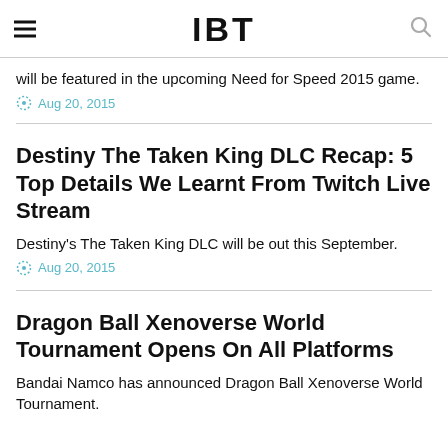IBT
will be featured in the upcoming Need for Speed 2015 game.
Aug 20, 2015
Destiny The Taken King DLC Recap: 5 Top Details We Learnt From Twitch Live Stream
Destiny's The Taken King DLC will be out this September.
Aug 20, 2015
Dragon Ball Xenoverse World Tournament Opens On All Platforms
Bandai Namco has announced Dragon Ball Xenoverse World Tournament.